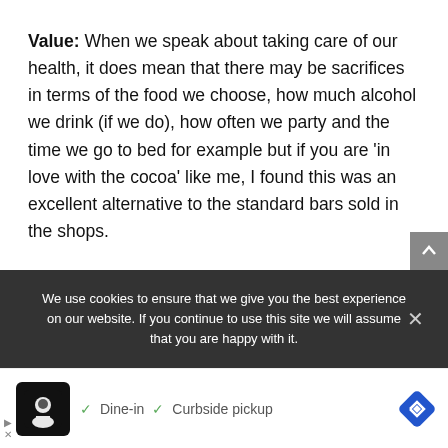Value: When we speak about taking care of our health, it does mean that there may be sacrifices in terms of the food we choose, how much alcohol we drink (if we do), how often we party and the time we go to bed for example but if you are 'in love with the cocoa' like me, I found this was an excellent alternative to the standard bars sold in the shops.
We use cookies to ensure that we give you the best experience on our website. If you continue to use this site we will assume that you are happy with it.
[Figure (screenshot): Ad banner showing a restaurant with Dine-in and Curbside pickup options]